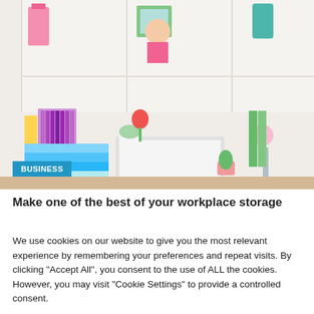[Figure (photo): Office desk with colorful binders, books, laptop, lamp, and white shelving unit with decorative items in background]
BUSINESS
Make one of the best of your workplace storage
We use cookies on our website to give you the most relevant experience by remembering your preferences and repeat visits. By clicking "Accept All", you consent to the use of ALL the cookies. However, you may visit "Cookie Settings" to provide a controlled consent.
Cookie Settings | Accept All